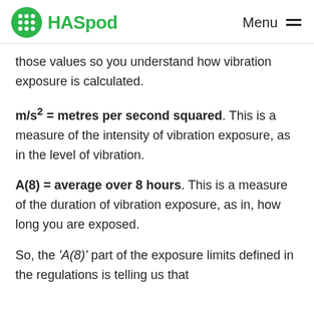HASpod  Menu
those values so you understand how vibration exposure is calculated.
m/s² = metres per second squared. This is a measure of the intensity of vibration exposure, as in the level of vibration.
A(8) = average over 8 hours. This is a measure of the duration of vibration exposure, as in, how long you are exposed.
So, the 'A(8)' part of the exposure limits defined in the regulations is telling us that